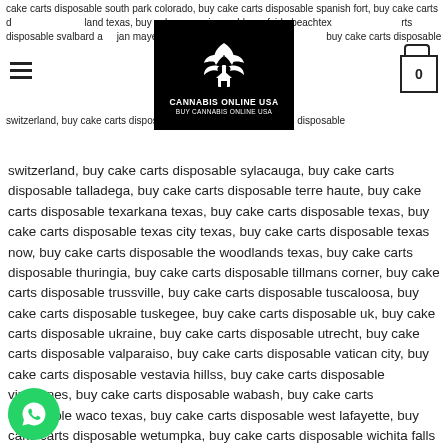cake carts disposable south park colorado, buy cake carts disposable spanish fort, buy cake carts disposable sutherland texas, buy cake carts disposable surfside beachtexas, buy cake carts disposable svalbard and jan mayen, buy cake carts disposable sweden, buy cake carts disposable switzerland, buy cake carts disposable sylacauga, buy cake carts disposable talladega, buy cake carts disposable terre haute, buy cake carts disposable texarkana texas, buy cake carts disposable texas, buy cake carts disposable texas city texas, buy cake carts disposable texas now, buy cake carts disposable the woodlands texas, buy cake carts disposable thuringia, buy cake carts disposable tillmans corner, buy cake carts disposable trussville, buy cake carts disposable tuscaloosa, buy cake carts disposable tuskegee, buy cake carts disposable uk, buy cake carts disposable ukraine, buy cake carts disposable utrecht, buy cake carts disposable valparaiso, buy cake carts disposable vatican city, buy cake carts disposable vestavia hillss, buy cake carts disposable vincennes, buy cake carts disposable wabash, buy cake carts disposable waco texas, buy cake carts disposable west lafayette, buy cake carts disposable wetumpka, buy cake carts disposable wichita falls texas, buy cake carts disposable zeeland, buy cake carts disposable zionsville, BUY CAKE DISPOSABLE ONLINE, cake carts houston, Cake D8 disposable, Cake delta 8 Disposable how to use, Cake delta 8 disposable review Cake Delta 8 disposable wholesale, Cake Delta 8 website, Cake Delta 8 disposable, CAKE DISPOSABLE in alabama, CAKE DISPOSABLE